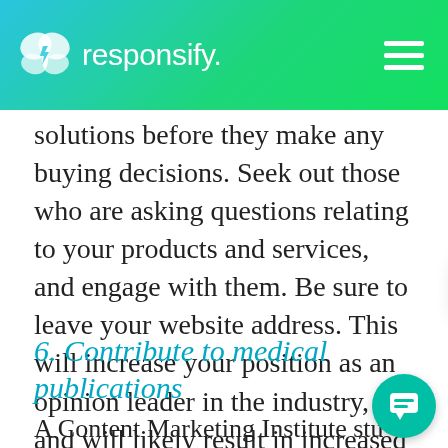responsify.
solutions before they make any buying decisions. Seek out those who are asking questions relating to your products and services, and engage with them. Be sure to leave your website address. This will increase your position as an opinion leader in the industry, and will likely result in increased potential new cus
6. Contribute to medical publications
A Content Marketing Institute stu...